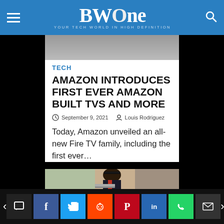BWOne — YOUR TECH WORLD IN HIGH DEFINITION
[Figure (photo): Cropped top of a photo, partially visible at top of article area]
TECH
AMAZON INTRODUCES FIRST EVER AMAZON BUILT TVS AND MORE
September 9, 2021   Louis Rodriguez
Today, Amazon unveiled an all-new Fire TV family, including the first ever…
[Figure (photo): Graduate in cap and gown working on a laptop outdoors]
Social share bar with comment, Facebook, Twitter, Reddit, Pinterest, LinkedIn, WhatsApp, Mail buttons; previous and next navigation arrows